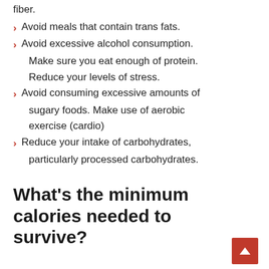fiber.
Avoid meals that contain trans fats.
Avoid excessive alcohol consumption. Make sure you eat enough of protein. Reduce your levels of stress.
Avoid consuming excessive amounts of sugary foods. Make use of aerobic exercise (cardio)
Reduce your intake of carbohydrates, particularly processed carbohydrates.
What's the minimum calories needed to survive?